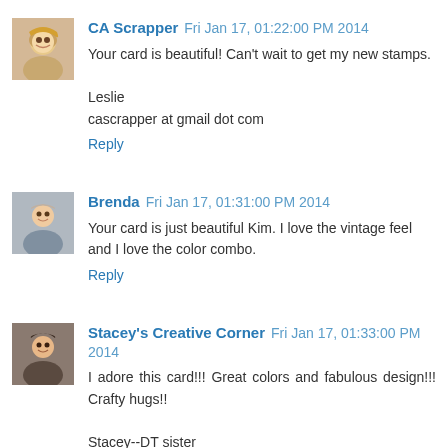[Figure (photo): Avatar photo of CA Scrapper, woman with blonde hair]
CA Scrapper  Fri Jan 17, 01:22:00 PM 2014
Your card is beautiful! Can't wait to get my new stamps.

Leslie
cascrapper at gmail dot com

Reply
[Figure (photo): Avatar photo of Brenda, woman with short hair]
Brenda  Fri Jan 17, 01:31:00 PM 2014
Your card is just beautiful Kim. I love the vintage feel and I love the color combo.

Reply
[Figure (photo): Avatar photo of Stacey's Creative Corner, woman with dark hair]
Stacey's Creative Corner  Fri Jan 17, 01:33:00 PM 2014
I adore this card!!! Great colors and fabulous design!!! Crafty hugs!!

Stacey--DT sister